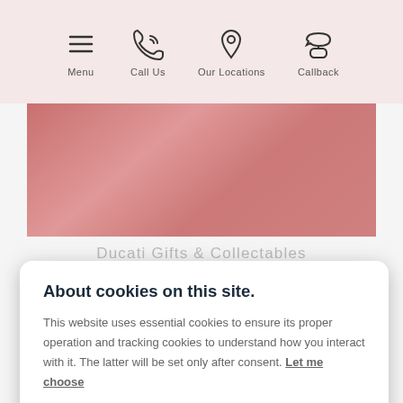[Figure (screenshot): Website navigation bar with icons for Menu, Call Us, Our Locations, and Callback on a pink background]
[Figure (photo): Pink/rose textured hero image area]
Ducati Gifts & Collectables
About cookies on this site.
This website uses essential cookies to ensure its proper operation and tracking cookies to understand how you interact with it. The latter will be set only after consent. Let me choose
Accept all
Reject all